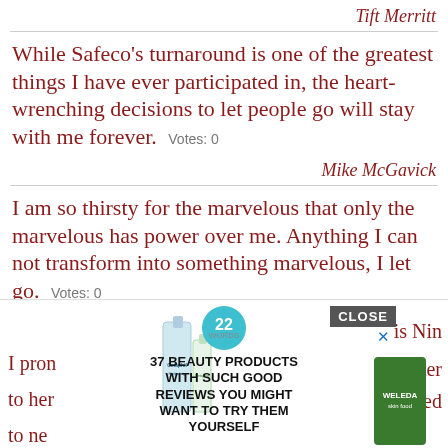Tift Merritt
While Safeco's turnaround is one of the greatest things I have ever participated in, the heart-wrenching decisions to let people go will stay with me forever.  Votes: 0
Mike McGavick
I am so thirsty for the marvelous that only the marvelous has power over me. Anything I can not transform into something marvelous, I let go.  Votes: 0
[Figure (infographic): Advertisement overlay showing beauty products: Cetaphil Hydrating product tubes on left, '22 Words - 37 BEAUTY PRODUCTS WITH SUCH GOOD REVIEWS YOU MIGHT WANT TO TRY THEM YOURSELF' headline in center with teal circle badge, Weleda green tube on right. CLOSE button in upper right of overlay. Partial quote text visible behind ad reading 'is Nin', 'I pron...rater', 'to her...ised', 'to ne...']